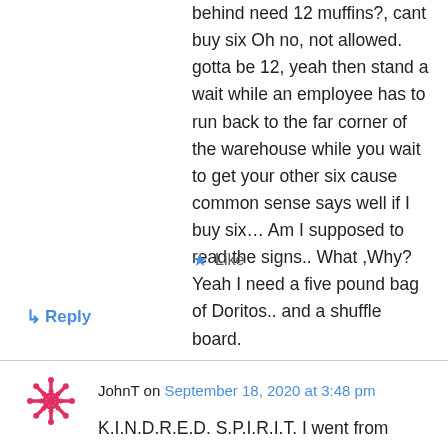behind need 12 muffins?, cant buy six Oh no, not allowed. gotta be 12, yeah then stand a wait while an employee has to run back to the far corner of the warehouse while you wait to get your other six cause common sense says well if I buy six… Am I supposed to read the signs.. What ,Why? Yeah I need a five pound bag of Doritos.. and a shuffle board.
★ Like
↳ Reply
JohnT on September 18, 2020 at 3:48 pm
K.I.N.D.R.E.D. S.P.I.R.I.T. I went from hah!..to muffled guffaw..to audible extended laugh… thank you! And by the way I found this by just